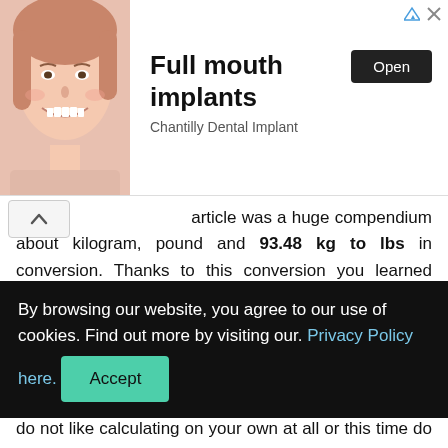[Figure (photo): Advertisement banner: woman smiling with dental implants, text 'Full mouth implants', 'Chantilly Dental Implant', and an 'Open' button]
article was a huge compendium about kilogram, pound and 93.48 kg to lbs in conversion. Thanks to this conversion you learned 93.48 kilogram is equivalent to how many pounds.
We showed you not only how to do a conversion 93.48 kilogram to metric pounds but also two other calculations - to know how many 93.48 kg in pounds and ounces and
By browsing our website, you agree to our use of cookies. Find out more by visiting our. Privacy Policy here. [Accept button]
do not like calculating on your own at all or this time do not